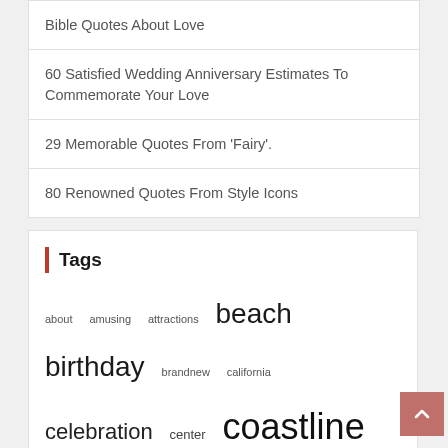Bible Quotes About Love
60 Satisfied Wedding Anniversary Estimates To Commemorate Your Love
29 Memorable Quotes From ‘Fairy’.
80 Renowned Quotes From Style Icons
Tags
about amusing attractions beach birthday brandnew california celebration center coastline delighted destinations dining effective exactly finest Florida guide happy Hotel ideal ideas island leading messages minecraft national online parks pizza pleased points prices quotes resort